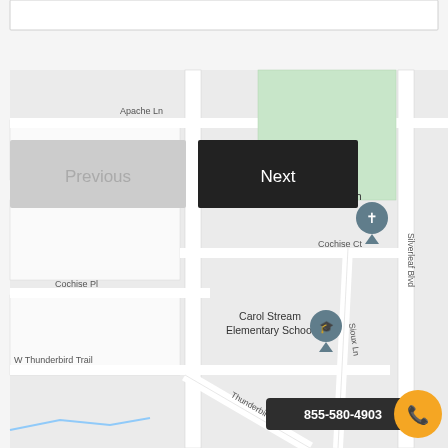[Figure (map): Street map showing St Luke Catholic Church and Carol Stream Elementary School, with streets Apache Ln, Cherokee Ct, Cochise Pl, W Thunderbird Trail, Cochise Ct, Sioux Ln, Silverleaf Blvd, and Thunderbird road. Navigation buttons 'Previous' and 'Next' overlay the top of the map. A phone number label '855-580-4903' and an orange call button appear at the bottom right.]